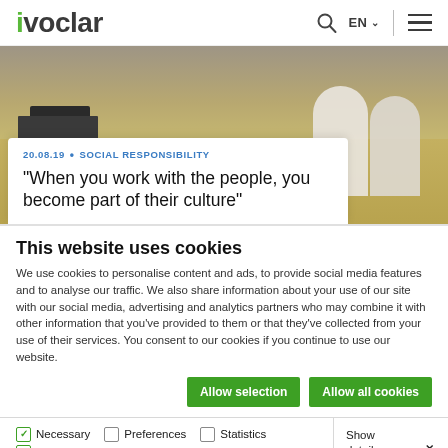ivoclar — EN — navigation menu
[Figure (photo): Landscape photo showing an agricultural or rural scene with a truck and large white cylindrical storage silos in a dry grassy field under a hazy sky]
20.08.19 • SOCIAL RESPONSIBILITY
"When you work with the people, you become part of their culture"
This website uses cookies
We use cookies to personalise content and ads, to provide social media features and to analyse our traffic. We also share information about your use of our site with our social media, advertising and analytics partners who may combine it with other information that you've provided to them or that they've collected from your use of their services. You consent to our cookies if you continue to use our website.
Allow selection | Allow all cookies
Necessary  Preferences  Statistics  Marketing  Show details